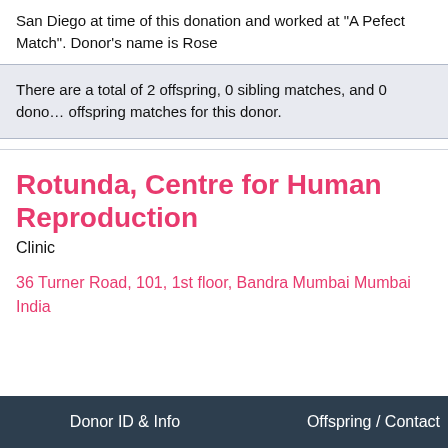San Diego at time of this donation and worked at "A Pefect Match". Donor's name is Rose
There are a total of 2 offspring, 0 sibling matches, and 0 donor offspring matches for this donor.
Rotunda, Centre for Human Reproduction
Clinic
36 Turner Road, 101, 1st floor, Bandra Mumbai Mumbai India
Donor ID & Info    Offspring / Contact